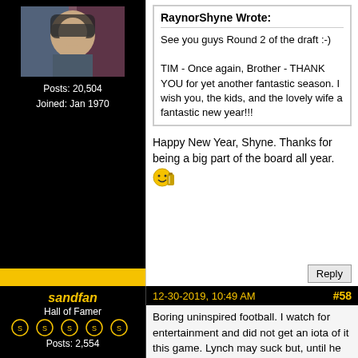[Figure (photo): User avatar showing a person in football helmet with American flag background]
Posts: 20,504
Joined: Jan 1970
RaynorShyne Wrote:
See you guys Round 2 of the draft :-)

TIM - Once again, Brother - THANK YOU for yet another fantastic season.  I wish you, the kids, and the lovely wife a fantastic new year!!!
Happy New Year, Shyne. Thanks for being a big part of the board all year. 👍
Reply
sandfan
Hall of Famer
[Figure (illustration): Five Steelers logo icons in a row]
Posts: 2,554
12-30-2019, 10:49 AM
#58
Boring uninspired football. I watch for entertainment and did not get an iota of it this game. Lynch may suck but, until he gets his chance, we will never know for sure. Ben sucked...